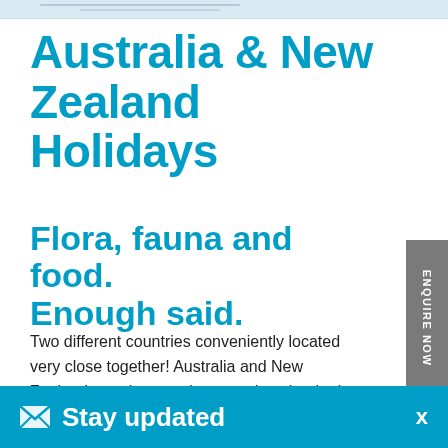[Figure (photo): Partial image strip at top of page, light blue/grey tones]
Australia & New Zealand Holidays
Flora, fauna and food. Enough said.
Two different countries conveniently located very close together! Australia and New Zealand are almost polar opposites, but both feature friendly locals, pristine surrounds and eclectic urban hotspots.
Metr... Auck... thing... diffe...
ENQUIRE NOW
Stay updated